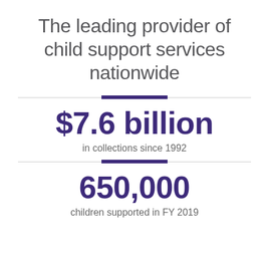The leading provider of child support services nationwide
$7.6 billion
in collections since 1992
650,000
children supported in FY 2019